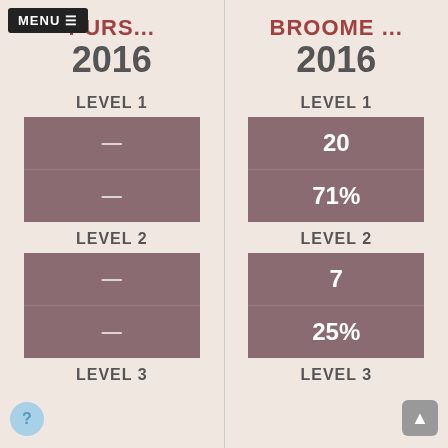PURS...
BROOME ...
2016
2016
LEVEL 1
LEVEL 1
—
20
—
71%
LEVEL 2
LEVEL 2
—
7
—
25%
LEVEL 3
LEVEL 3